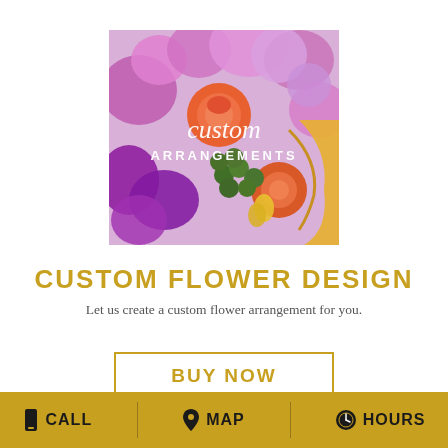[Figure (photo): A colorful custom flower arrangement featuring orange roses, purple/pink blooms, green berries, and yellow accents with cursive text overlay reading 'custom ARRANGEMENTS']
CUSTOM FLOWER DESIGN
Let us create a custom flower arrangement for you.
BUY NOW
CALL  MAP  HOURS